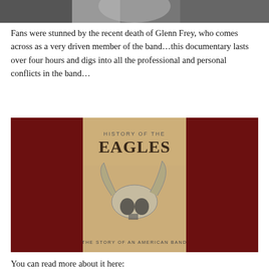[Figure (photo): Top portion of a black and white photo, partially cropped at top of page]
Fans were stunned by the recent death of Glenn Frey, who comes across as a very driven member of the band…this documentary lasts over four hours and digs into all the professional and personal conflicts in the band…
[Figure (photo): Album/documentary cover for 'History of the Eagles: The Story of an American Band' featuring a bull skull on sandy desert background with dark red side panels]
You can read more about it here: